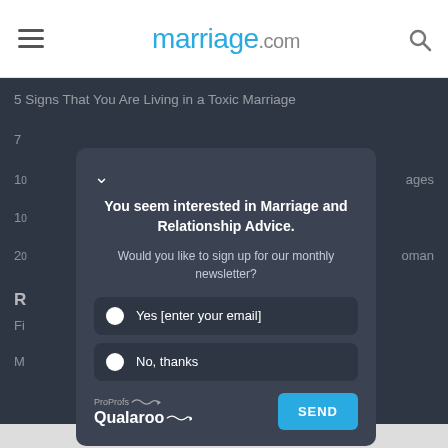marriage.com
5 Signs That You Are Living in a Toxic Marriage
[Figure (screenshot): Popup dialog from ProProfs Qualaroo asking user to sign up for monthly newsletter about Marriage and Relationship Advice, with Yes/No radio options and a SEND button]
ProProfs Qualaroo — SEND